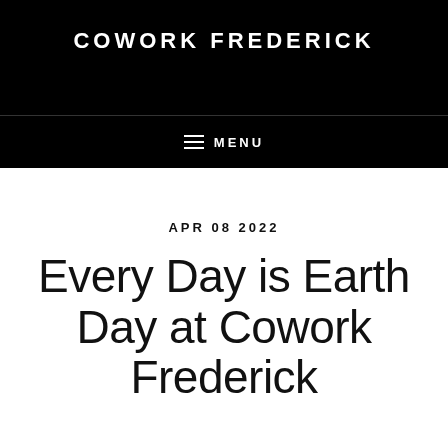COWORK FREDERICK
≡  MENU
APR 08 2022
Every Day is Earth Day at Cowork Frederick